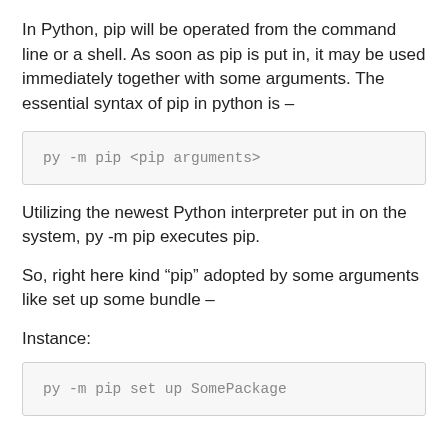In Python, pip will be operated from the command line or a shell. As soon as pip is put in, it may be used immediately together with some arguments. The essential syntax of pip in python is –
py -m pip <pip arguments>
Utilizing the newest Python interpreter put in on the system, py -m pip executes pip.
So, right here kind “pip” adopted by some arguments like set up some bundle –
Instance:
py -m pip set up SomePackage